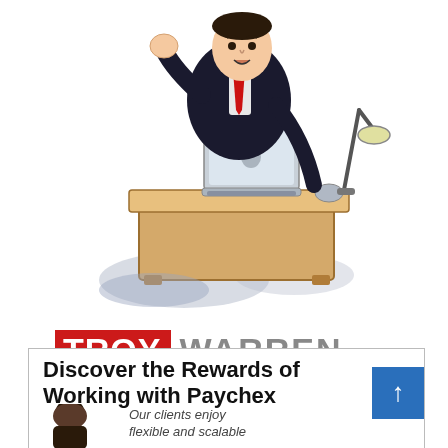[Figure (illustration): Editorial cartoon of a man in a suit working at a desk with a laptop computer, gesturing with one hand, drawn in a loose ink-and-watercolor style.]
TROY WARREN BEHIND THE EDITOR'S DESK
[Figure (illustration): Advertisement box: 'Discover the Rewards of Working with Paychex' with a person photo and text 'Our clients enjoy flexible and scalable...' and a blue up-arrow button.]